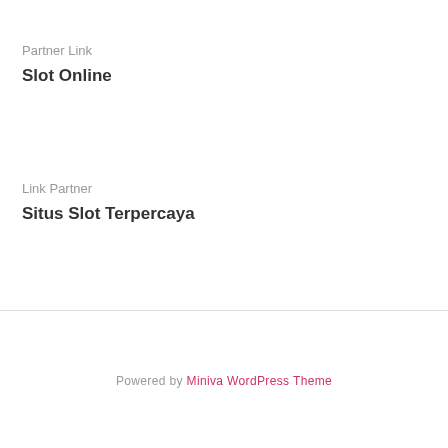Partner Link
Slot Online
Link Partner
Situs Slot Terpercaya
Powered by Miniva WordPress Theme